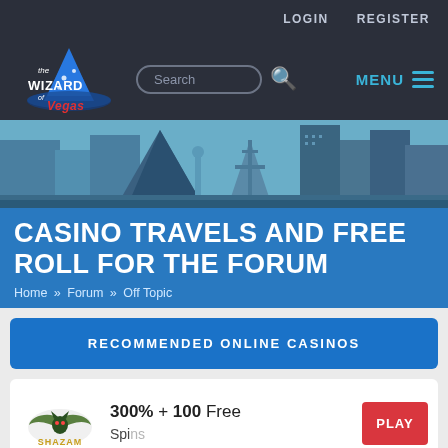LOGIN   REGISTER
[Figure (logo): The Wizard of Vegas logo with blue wizard hat]
Search
MENU
[Figure (illustration): Las Vegas skyline illustration with blue tones showing famous buildings including pyramid and Eiffel Tower replica]
CASINO TRAVELS AND FREE ROLL FOR THE FORUM
Home » Forum » Off Topic
RECOMMENDED ONLINE CASINOS
300% + 100 Free
[Figure (logo): Shazam Casino logo]
PLAY